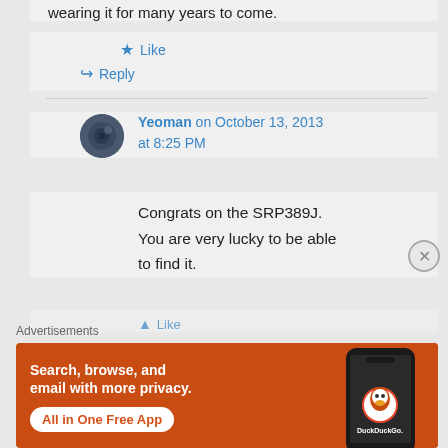wearing it for many years to come.
★ Like
↪ Reply
Yeoman on October 13, 2013 at 8:25 PM
Congrats on the SRP389J. You are very lucky to be able to find it.
★ Like
Advertisements
[Figure (screenshot): DuckDuckGo advertisement banner: orange background with text 'Search, browse, and email with more privacy. All in One Free App' and a phone mockup showing the DuckDuckGo logo.]